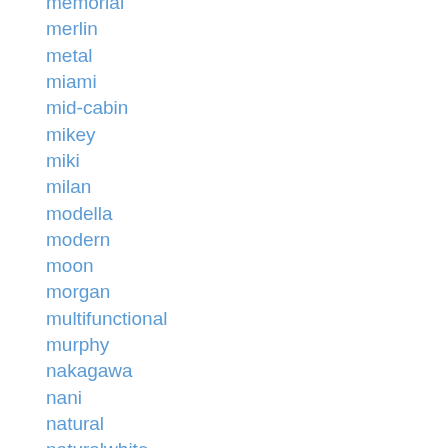memorial
merlin
metal
miami
mid-cabin
mikey
miki
milan
modella
modern
moon
morgan
multifunctional
murphy
nakagawa
nani
natural
naturalwhite
nepal
neptune
neuton
nevada